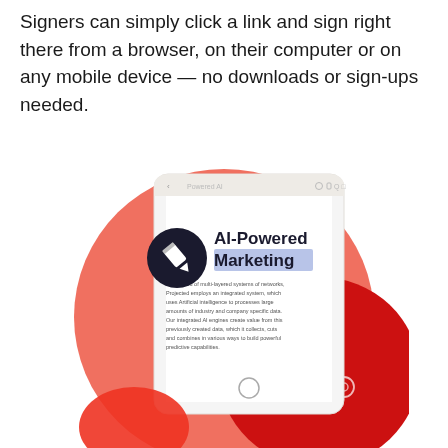Signers can simply click a link and sign right there from a browser, on their computer or on any mobile device — no downloads or sign-ups needed.
[Figure (illustration): Illustration of a tablet device showing an 'AI-Powered Marketing' document with a pencil icon circle overlay, surrounded by a red coral circular blob shape and red abstract decorative elements in the background.]